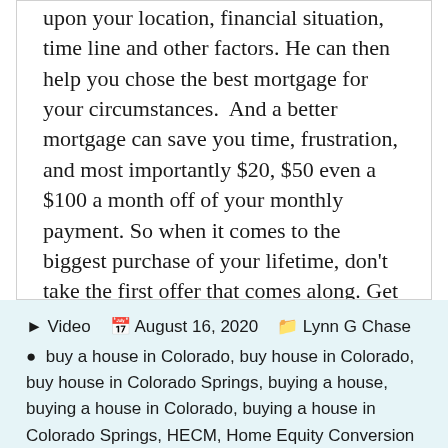upon your location, financial situation, time line and other factors. He can then help you chose the best mortgage for your circumstances.  And a better mortgage can save you time, frustration, and most importantly $20, $50 even a $100 a month off of your monthly payment. So when it comes to the biggest purchase of your lifetime, don't take the first offer that comes along. Get an expert who shops on your behalf. Get an Independent Mortgage Broker!
▶ Video  🗓 August 16, 2020  🏷 Lynn G Chase  🏷 buy a house in Colorado, buy house in Colorado, buy house in Colorado Springs, buying a house, buying a house in Colorado, buying a house in Colorado Springs, HECM, Home Equity Conversion Mortgage, how to buy a house, how to buy a house in Colorado, how to get a house, I need to buy a house, I want to